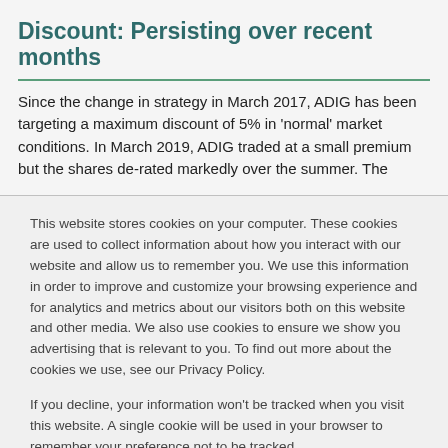Discount: Persisting over recent months
Since the change in strategy in March 2017, ADIG has been targeting a maximum discount of 5% in ‘normal’ market conditions. In March 2019, ADIG traded at a small premium but the shares de-rated markedly over the summer. The
This website stores cookies on your computer. These cookies are used to collect information about how you interact with our website and allow us to remember you. We use this information in order to improve and customize your browsing experience and for analytics and metrics about our visitors both on this website and other media. We also use cookies to ensure we show you advertising that is relevant to you. To find out more about the cookies we use, see our Privacy Policy.

If you decline, your information won’t be tracked when you visit this website. A single cookie will be used in your browser to remember your preference not to be tracked.